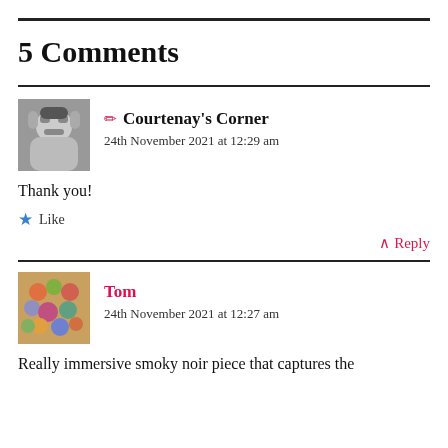5 Comments
Courtenay's Corner
24th November 2021 at 12:29 am
Thank you!
Like
Reply
Tom
24th November 2021 at 12:27 am
Really immersive smoky noir piece that captures the